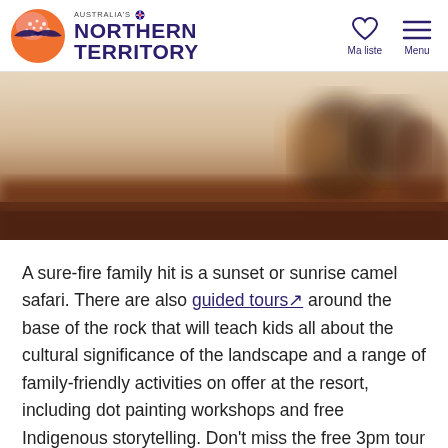Australia's Northern Territory — Ma liste | Menu
[Figure (photo): Blurred desert landscape photo showing sandy/red outback terrain with warm brown tones, likely near Uluru.]
A sure-fire family hit is a sunset or sunrise camel safari. There are also guided tours around the base of the rock that will teach kids all about the cultural significance of the landscape and a range of family-friendly activities on offer at the resort, including dot painting workshops and free Indigenous storytelling. Don't miss the free 3pm tour of the Wintjiri museum or